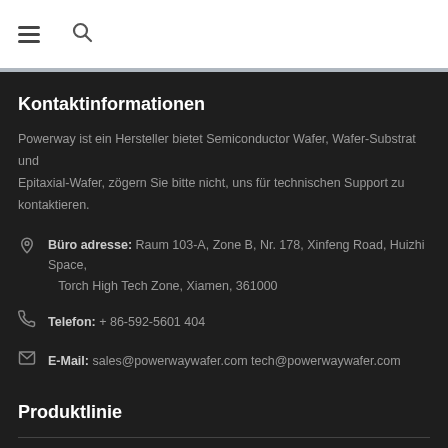Navigation menu and search icons
Kontaktinformationen
Powerway ist ein Hersteller bietet Semiconductor Wafer, Wafer-Substrat und Epitaxial-Wafer, zögern Sie bitte nicht, uns für technischen Support zu kontaktieren.
Büro adresse: Raum 103-A, Zone B, Nr. 178, Xinfeng Road, Huizhi Space, Torch High Tech Zone, Xiamen, 361000
Telefon: + 86-592-5601 404
E-Mail: sales@powerwaywafer.com tech@powerwaywafer.com
Produktlinie
GaN-Wafer
SiC-Wafer